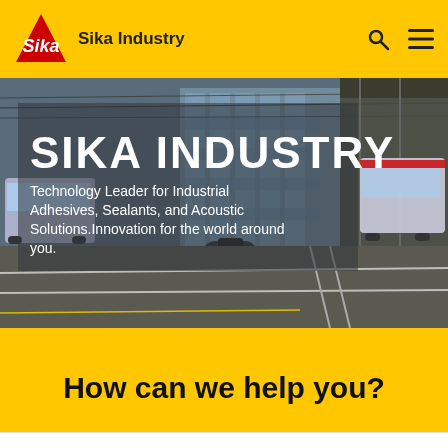Sika Industry
[Figure (screenshot): Hero image showing an urban street scene with buses, a motorcycle, tram tracks, and a glass office building in the background. Semi-transparent grey overlay box contains the main heading and subtitle text.]
SIKA INDUSTRY
Technology Leader for Industrial Adhesives, Sealants, and Acoustic Solutions.Innovation for the world around you.
How can we help you?